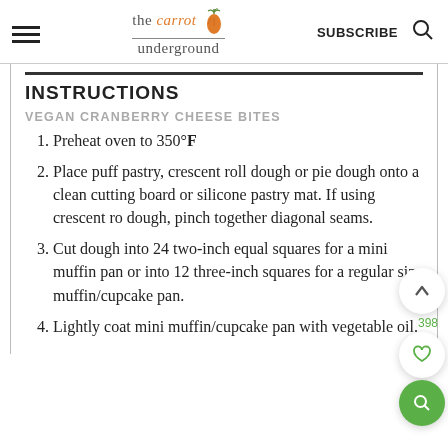the carrot underground — SUBSCRIBE
INSTRUCTIONS
VEGAN CRANBERRY CHEESE BITES
Preheat oven to 350°F
Place puff pastry, crescent roll dough or pie dough onto a clean cutting board or silicone pastry mat. If using crescent roll dough, pinch together diagonal seams.
Cut dough into 24 two-inch equal squares for a mini muffin pan or into 12 three-inch squares for a regular size muffin/cupcake pan.
Lightly coat mini muffin/cupcake pan with vegetable oil.